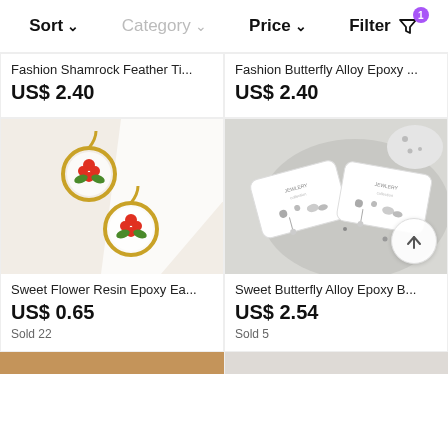Sort  Category  Price  Filter
[Figure (screenshot): Partial product listing: Fashion Shamrock Feather Ti... US$ 2.40]
[Figure (screenshot): Partial product listing: Fashion Butterfly Alloy Epoxy ... US$ 2.40]
[Figure (photo): Gold circular earrings with red flower and green leaves on white textured background]
Sweet Flower Resin Epoxy Ea...
US$ 0.65
Sold 22
[Figure (photo): Silver butterfly alloy earring sets on card displayed on speckled ceramic plate]
Sweet Butterfly Alloy Epoxy B...
US$ 2.54
Sold 5